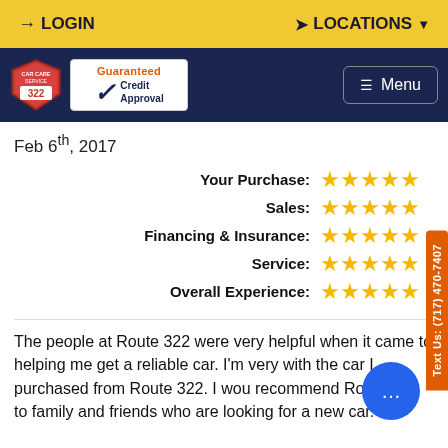LOGIN   LOCATIONS
[Figure (logo): Route 322 Car Care Service shield logo and Guaranteed Credit Approval badge, with Menu button on dark navy navigation bar]
Feb 6th, 2017
| Category | Rating |
| --- | --- |
| Your Purchase: | 5 stars |
| Sales: | 5 stars |
| Financing & Insurance: | 5 stars |
| Service: | 5 stars |
| Overall Experience: | 5 stars |
The people at Route 322 were very helpful when it came to helping me get a reliable car. I'm very with the car I purchased from Route 322. I wou recommend Route 322 to family and friends who are looking for a new car.